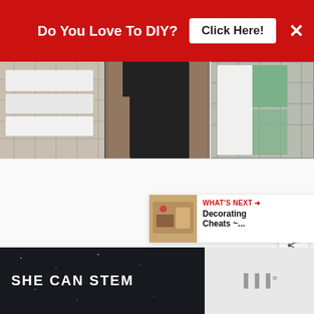[Figure (screenshot): Red promotional banner at top: 'Do You Love To DIY? Click Here!' with X close button]
[Figure (photo): Photo strip showing organized laundry baskets with white, black, and green garments]
[Figure (screenshot): White content area with heart (favorite) and share action buttons on right side]
[Figure (screenshot): What's Next card: thumbnail image with label 'WHAT'S NEXT' and title 'Decorating Cheats ~...']
[Figure (screenshot): Bottom banner split: dark section with 'SHE CAN STEM' text and light section with logo marks]